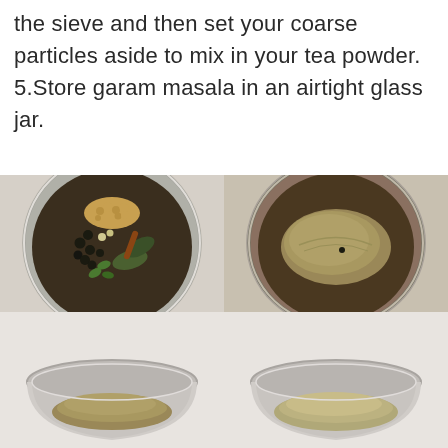the sieve and then set your coarse particles aside to mix in your tea powder. 5.Store garam masala in an airtight glass jar.
[Figure (photo): Four photos arranged in a 2x2 grid showing the process of making garam masala: top-left shows whole spices in a grinder bowl (coriander seeds, black pepper, cardamom, cinnamon, bay leaves), top-right shows the spices ground into a fine powder in the grinder bowl, bottom-left shows ground powder in a steel bowl, bottom-right shows finer sieved powder in a steel bowl.]